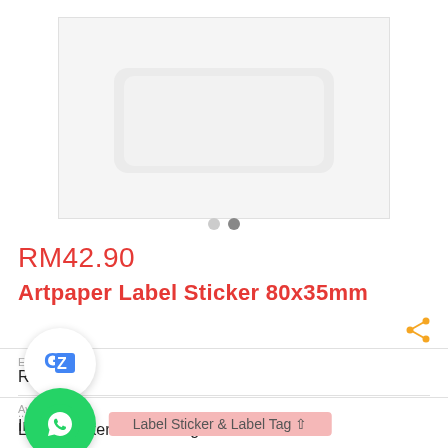[Figure (photo): Product image of a white rectangular label sticker on a light gray background]
RM42.90
Artpaper Label Sticker 80x35mm
| Ex... | RM42.90 |
| ... | Label Sticker & Label Tag |
| Availability | In Stock |